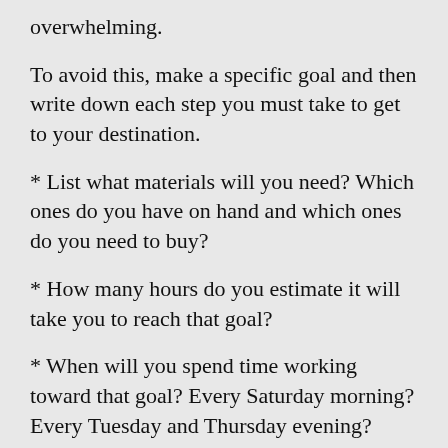overwhelming.
To avoid this, make a specific goal and then write down each step you must take to get to your destination.
* List what materials will you need? Which ones do you have on hand and which ones do you need to buy?
* How many hours do you estimate it will take you to reach that goal?
* When will you spend time working toward that goal? Every Saturday morning? Every Tuesday and Thursday evening?